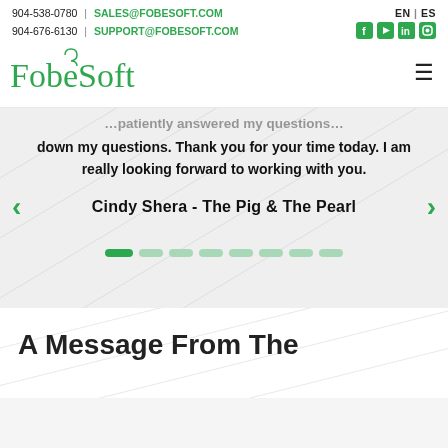904-538-0780 | SALES@FOBESOFT.COM   EN | ES
904-676-6130 | SUPPORT@FOBESOFT.COM
[Figure (logo): FobeSoft company logo with stylized green text and a small looped symbol above the 'o']
down my questions. Thank you for your time today. I am really looking forward to working with you.
Cindy Shera - The Pig & The Pearl
[Figure (infographic): Carousel dot indicators: one active green dot followed by seven lighter green dots]
A Message From The